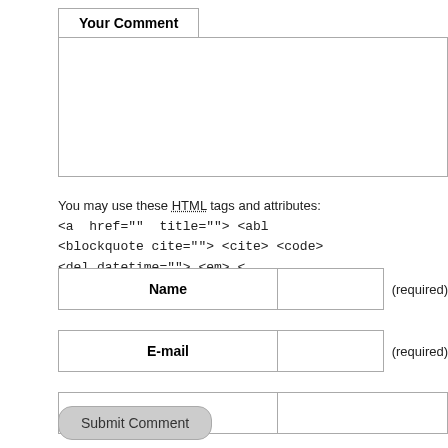Your Comment
You may use these HTML tags and attributes: <a href="" title=""> <abl <blockquote cite=""> <cite> <code> <del datetime=""> <em> <
Name (required)
E-mail (required)
URI
Submit Comment